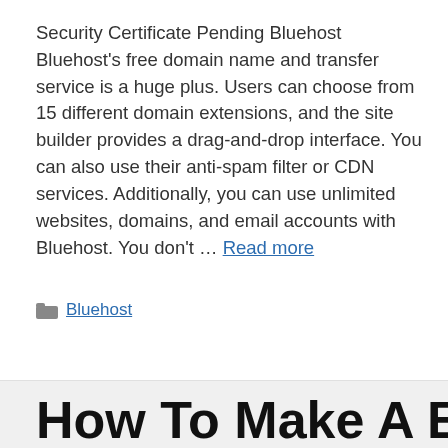Security Certificate Pending Bluehost Bluehost's free domain name and transfer service is a huge plus. Users can choose from 15 different domain extensions, and the site builder provides a drag-and-drop interface. You can also use their anti-spam filter or CDN services. Additionally, you can use unlimited websites, domains, and email accounts with Bluehost. You don't … Read more
Bluehost
How To Make A Email